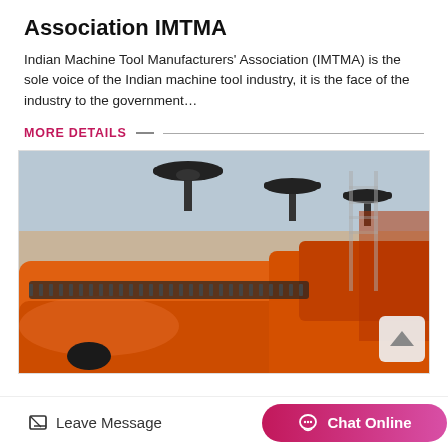Association IMTMA
Indian Machine Tool Manufacturers' Association (IMTMA) is the sole voice of the Indian machine tool industry, it is the face of the industry to the government…
MORE DETAILS
[Figure (photo): Industrial machine tools in a factory setting, large orange-painted heavy machinery with valve wheels on top, photographed in an industrial hall.]
Leave Message
Chat Online